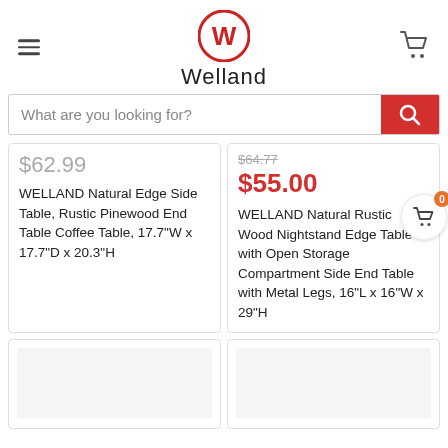[Figure (logo): Welland brand logo with circular W icon and brand name text]
What are you looking for?
$62.99
WELLAND Natural Edge Side Table, Rustic Pinewood End Table Coffee Table, 17.7"W x 17.7"D x 20.3"H
$64.77 $55.00
WELLAND Natural Rustic Wood Nightstand Edge Table with Open Storage Compartment Side End Table with Metal Legs, 16"L x 16"W x 29"H